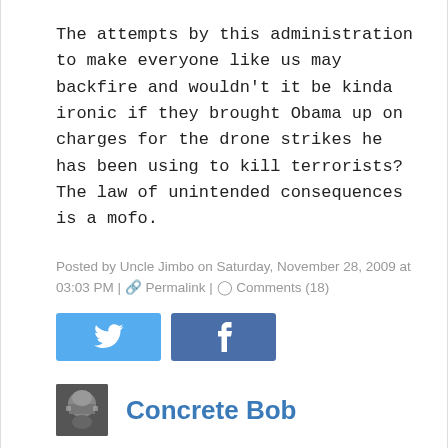The attempts by this administration to make everyone like us may backfire and wouldn't it be kinda ironic if they brought Obama up on charges for the drone strikes he has been using to kill terrorists? The law of unintended consequences is a mofo.
Posted by Uncle Jimbo on Saturday, November 28, 2009 at 03:03 PM | Permalink | Comments (18)
[Figure (other): Twitter and Facebook share buttons]
[Figure (photo): Small avatar photo of commenter]
Concrete Bob